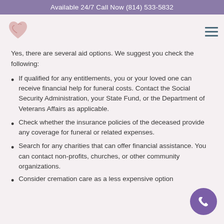Available 24/7 Call Now (814) 533-5832
[Figure (logo): Heart-shaped logo with pink/mauve tones]
Yes, there are several aid options. We suggest you check the following:
If qualified for any entitlements, you or your loved one can receive financial help for funeral costs. Contact the Social Security Administration, your State Fund, or the Department of Veterans Affairs as applicable.
Check whether the insurance policies of the deceased provide any coverage for funeral or related expenses.
Search for any charities that can offer financial assistance. You can contact non-profits, churches, or other community organizations.
Consider cremation care as a less expensive option